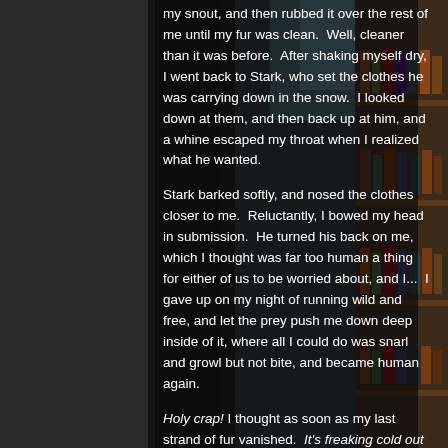[Figure (photo): Background photo of a library with bookshelves on the right side, with a dark overlay on the text area. The left portion shows dark shelving, and the right shows library shelves with books and a skylight ceiling.]
my snout, and then rubbed it over the rest of me until my fur was clean.  Well, cleaner than it was before.  After shaking myself dry, I went back to Stark, who set the clothes he was carrying down in the snow.  I looked down at them, and then back up at him, and a whine escaped my throat when I realized what he wanted.
Stark barked softly, and nosed the clothes closer to me.  Reluctantly, I bowed my head in submission.  He turned his back on me, which I thought was far too human a thing for either of us to be worried about, and I...  I gave up on my night of running wild and free, and let the prey push me down deep inside of it, where all I could do was snarl and growl but not bite, and became human again.
Holy crap! I thought as soon as my last strand of fur vanished.  It's freaking cold out here!
I didn't waste any time in grabbing the clothes Stark had brought me and putting them on